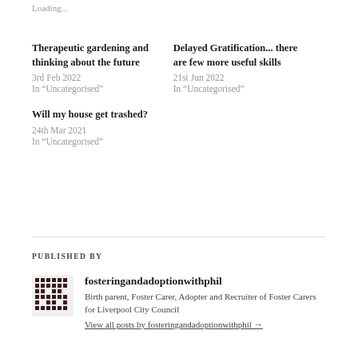Loading...
Therapeutic gardening and thinking about the future
3rd Feb 2022
In "Uncategorised"
Delayed Gratification... there are few more useful skills
21st Jun 2022
In "Uncategorised"
Will my house get trashed?
24th Mar 2021
In "Uncategorised"
PUBLISHED BY
fosteringandadoptionwithphil
Birth parent, Foster Carer, Adopter and Recruiter of Foster Carers for Liverpool City Council
View all posts by fosteringandadoptionwithphil →